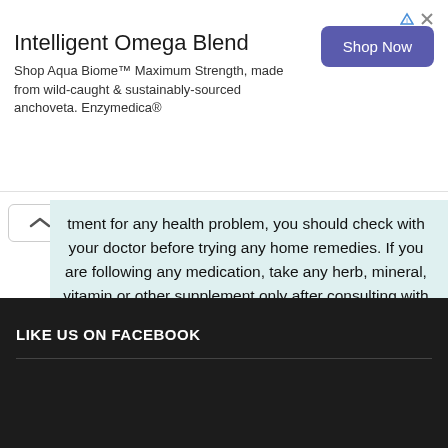[Figure (other): Advertisement banner for Enzymedica Aqua Biome Omega supplement with Shop Now button]
tment for any health problem, you should check with your doctor before trying any home remedies. If you are following any medication, take any herb, mineral, vitamin or other supplement only after consulting with your doctor. If you suspect that you have a medical problem, we urge you to seek competent medical help. The Health Benefits Times writers, publishers, authors, its representatives disclaim liability for any unfavorable effects causing directly or indirectly from articles and materials contained in this website www.healthbenefitstimes.com
LIKE US ON FACEBOOK